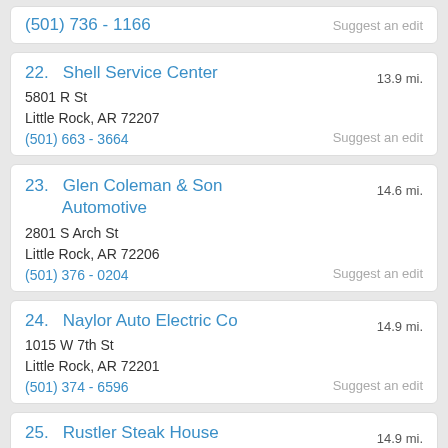(501) 736 - 1166 Suggest an edit
22. Shell Service Center
5801 R St
Little Rock, AR 72207
(501) 663 - 3664
13.9 mi.
Suggest an edit
23. Glen Coleman & Son Automotive
2801 S Arch St
Little Rock, AR 72206
(501) 376 - 0204
14.6 mi.
Suggest an edit
24. Naylor Auto Electric Co
1015 W 7th St
Little Rock, AR 72201
(501) 374 - 6596
14.9 mi.
Suggest an edit
25. Rustler Steak House
1478 Barrington Court
Little Rock, AR 72201
(870) 513 - 0703
14.9 mi.
Suggest an edit
26. Hill Crest German Auto